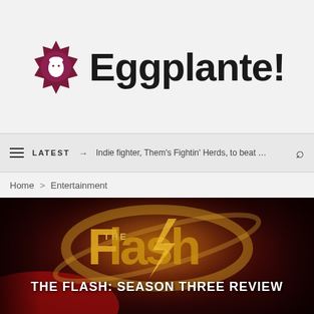[Figure (logo): Eggplante! website logo with decorative flower/badge icon in dark maroon and white, followed by bold text 'Eggplante!']
LATEST → Indie fighter, Them's Fightin' Herds, to beat …
Home > Entertainment
[Figure (photo): The Flash TV show logo — golden lightning bolt 'Flash' logo on dark red/maroon cinematic background]
THE FLASH: SEASON THREE REVIEW